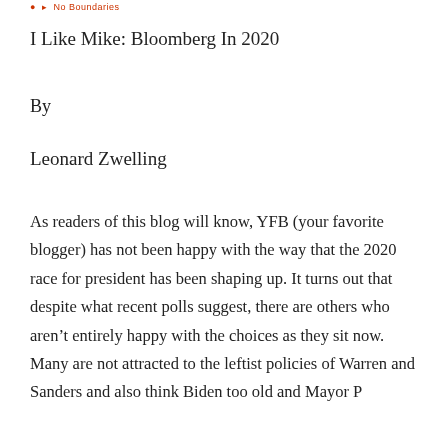● ▸ No Boundaries
I Like Mike: Bloomberg In 2020
By
Leonard Zwelling
As readers of this blog will know, YFB (your favorite blogger) has not been happy with the way that the 2020 race for president has been shaping up. It turns out that despite what recent polls suggest, there are others who aren't entirely happy with the choices as they sit now. Many are not attracted to the leftist policies of Warren and Sanders and also think Biden too old and Mayor P...